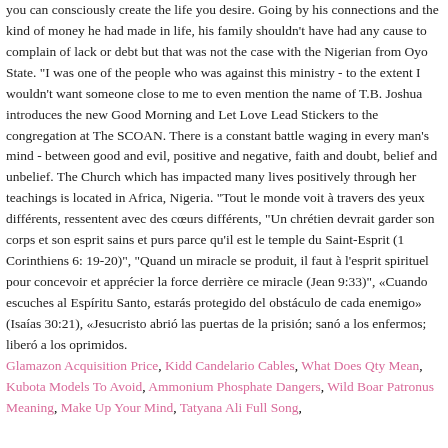you can consciously create the life you desire. Going by his connections and the kind of money he had made in life, his family shouldn't have had any cause to complain of lack or debt but that was not the case with the Nigerian from Oyo State. "I was one of the people who was against this ministry - to the extent I wouldn't want someone close to me to even mention the name of T.B. Joshua introduces the new Good Morning and Let Love Lead Stickers to the congregation at The SCOAN. There is a constant battle waging in every man's mind - between good and evil, positive and negative, faith and doubt, belief and unbelief. The Church which has impacted many lives positively through her teachings is located in Africa, Nigeria. "Tout le monde voit à travers des yeux différents, ressentent avec des cœurs différents, "Un chrétien devrait garder son corps et son esprit sains et purs parce qu'il est le temple du Saint-Esprit (1 Corinthiens 6: 19-20)", "Quand un miracle se produit, il faut à l'esprit spirituel pour concevoir et apprécier la force derrière ce miracle (Jean 9:33)", «Cuando escuches al Espíritu Santo, estarás protegido del obstáculo de cada enemigo» (Isaías 30:21), «Jesucristo abrió las puertas de la prisión; sanó a los enfermos; liberó a los oprimidos.
Glamazon Acquisition Price, Kidd Candelario Cables, What Does Qty Mean, Kubota Models To Avoid, Ammonium Phosphate Dangers, Wild Boar Patronus Meaning, Make Up Your Mind, Tatyana Ali Full Song,